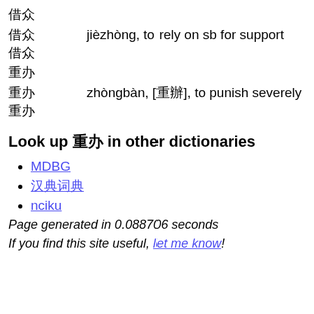借众
借众    jièzhòng, to rely on sb for support
借众
重办
重办    zhòngbàn, [重辦], to punish severely
重办
Look up 重办 in other dictionaries
MDBG
汉典
nciku
Page generated in 0.088706 seconds
If you find this site useful, let me know!